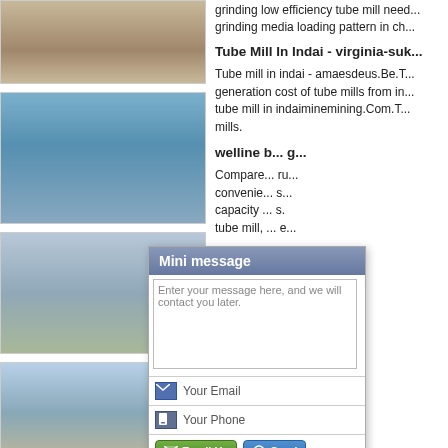[Figure (photo): Construction/mining machinery at work on a sandy site]
[Figure (photo): Two men standing near large blue industrial tube mills in a factory]
[Figure (photo): Large mobile crusher/screening machine on a sandy site]
[Figure (photo): Excavator working at a dusty construction or mining site]
grinding low efficiency tube mill need... grinding media loading pattern in ch...
Tube Mill In Indai - virginia-suk...
Tube mill in indai - amaesdeus.Be.T... generation cost of tube mills from in... tube mill in indaiminemining.Com.T... mills.
welline b... g...
Compare... ru... convenie... s... capacity ... s. tube mill, ... e...
dominic... n...
grinding b... ea... part able ... b...
[Figure (screenshot): Mini message popup dialog with text area, email field, phone field, and Email Us / Send buttons]